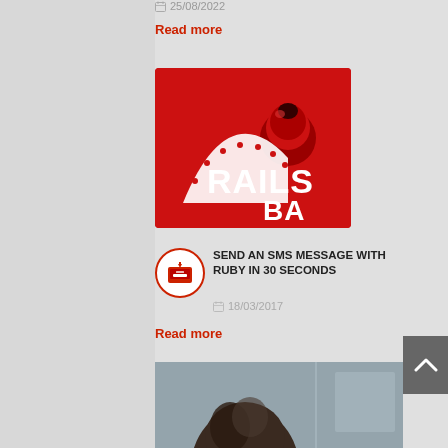25/08/2022
Read more
[Figure (logo): Ruby on Rails BA logo — red square background with white Rails arch/wave graphic and text 'RAILS BA']
[Figure (illustration): Small red SMS/inbox icon inside a white circle with red border]
SEND AN SMS MESSAGE WITH RUBY IN 30 SECONDS
18/03/2017
Read more
[Figure (photo): Partial photo at bottom showing a person with dark hair, cropped]
^